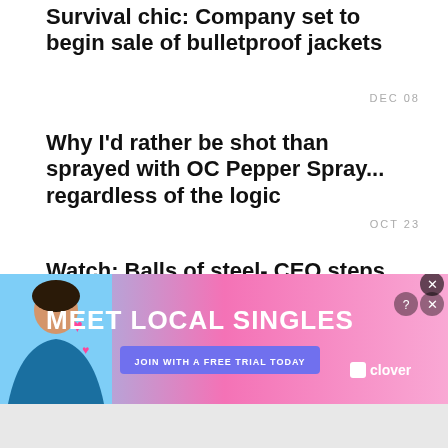Survival chic: Company set to begin sale of bulletproof jackets
DEC 08
Why I'd rather be shot than sprayed with OC Pepper Spray... regardless of the logic
OCT 23
Watch: Balls of steel- CEO steps up to show his bulletproof groin protector works
AUG 11
[Figure (infographic): Advertisement banner for Clover dating app: 'MEET LOCAL SINGLES' with a woman's photo, pink/blue gradient background, and 'JOIN WITH A FREE TRIAL TODAY' CTA button]